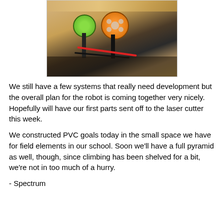[Figure (photo): Photo of two robot components (a green-capped and an orange-capped device) mounted on a wooden surface with red and black wiring visible underneath.]
We still have a few systems that really need development but the overall plan for the robot is coming together very nicely. Hopefully will have our first parts sent off to the laser cutter this week.
We constructed PVC goals today in the small space we have for field elements in our school. Soon we'll have a full pyramid as well, though, since climbing has been shelved for a bit, we're not in too much of a hurry.
- Spectrum